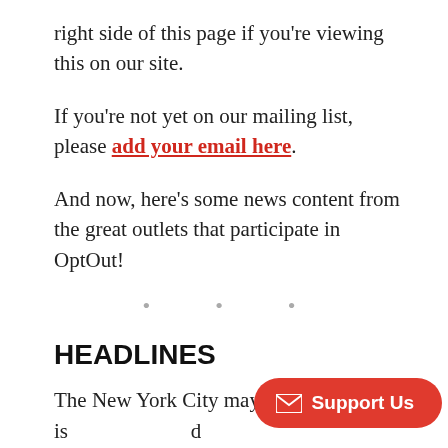right side of this page if you're viewing this on our site.
If you're not yet on our mailing list, please add your email here.
And now, here's some news content from the great outlets that participate in OptOut!
HEADLINES
The New York City mayoral race is … and apparent frontrunner Andrew Y… of scrutiny. The Prospect explains that Yang is no